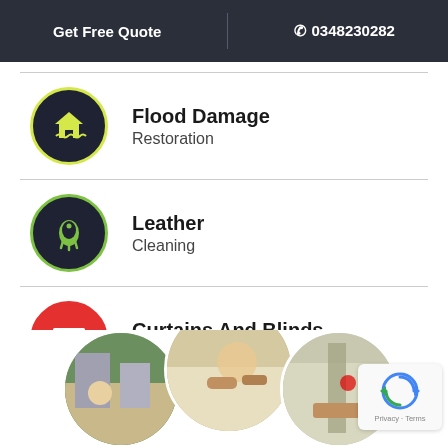Get Free Quote  |  0348230282
Flood Damage
Restoration
Leather
Cleaning
Curtains And Blinds
Cleaning
[Figure (photo): Three circular photo thumbnails at the bottom showing cleaning service scenes (carpet cleaning, upholstery cleaning)]